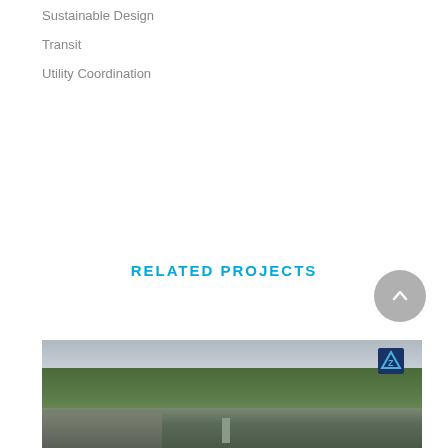Sustainable Design
Transit
Utility Coordination
RELATED PROJECTS
[Figure (photo): Aerial photograph of a road corridor through a forested/vegetated area with a small industrial or commercial zone visible in the lower left, overcast sky above.]